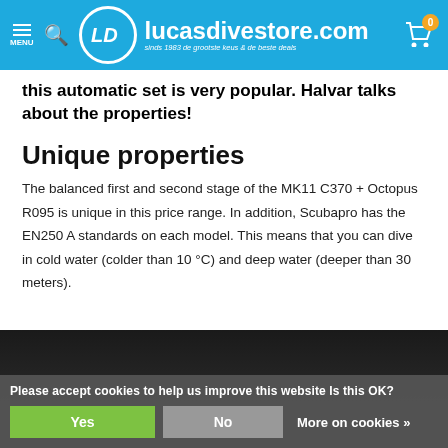lucasdivestore.com — sinds 1983 de grootste keus & de beste deals
this automatic set is very popular. Halvar talks about the properties!
Unique properties
The balanced first and second stage of the MK11 C370 + Octopus R095 is unique in this price range. In addition, Scubapro has the EN250 A standards on each model. This means that you can dive in cold water (colder than 10 °C) and deep water (deeper than 30 meters).
[Figure (photo): Dark background photo with cookie consent bar overlay. Cookie bar text: 'Please accept cookies to help us improve this website Is this OK?' with Yes (green), No (gray), and 'More on cookies »' buttons.]